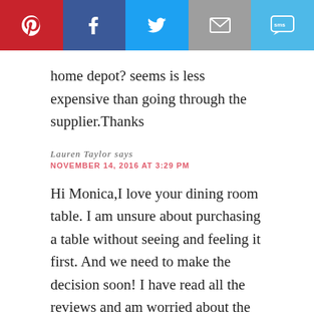[Figure (other): Social share bar with Pinterest, Facebook, Twitter, Email, and SMS buttons]
home depot? seems is less expensive than going through the supplier.Thanks
Lauren Taylor says
NOVEMBER 14, 2016 AT 3:29 PM
Hi Monica,I love your dining room table. I am unsure about purchasing a table without seeing and feeling it first. And we need to make the decision soon! I have read all the reviews and am worried about the staining because we have children. Since